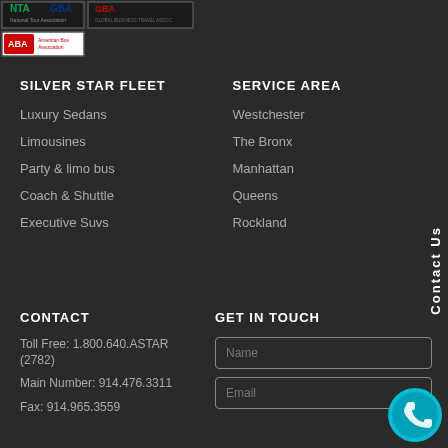[Figure (logo): NTA, GBA, and ABA association logos at top of page]
SILVER STAR FLEET
Luxury Sedans
Limousines
Party & limo bus
Coach & Shuttle
Executive Suvs
SERVICE AREA
Westchester
The Bronx
Manhattan
Queens
Rockland
CONTACT
Toll Free: 1.800.640.ASTAR (2782)
Main Number: 914.476.3311
Fax: 914.965.3559
GET IN TOUCH
[Figure (other): Name input field]
[Figure (other): Email input field]
[Figure (other): WhatsApp contact button (teal circle with phone icon)]